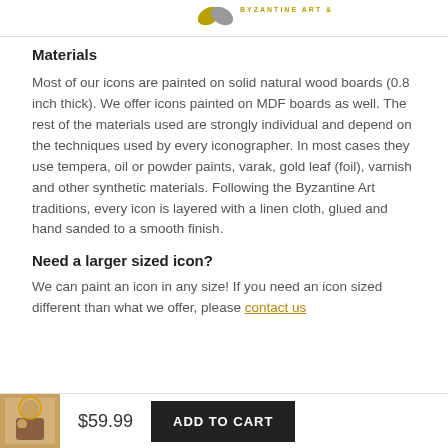[Figure (logo): Byzantine Art & Gifts logo with gold and grey leaf shapes at top of page]
Materials
Most of our icons are painted on solid natural wood boards (0.8 inch thick). We offer icons painted on MDF boards as well. The rest of the materials used are strongly individual and depend on the techniques used by every iconographer. In most cases they use tempera, oil or powder paints, varak, gold leaf (foil), varnish and other synthetic materials. Following the Byzantine Art traditions, every icon is layered with a linen cloth, glued and hand sanded to a smooth finish.
Need a larger sized icon?
We can paint an icon in any size! If you need an icon sized different than what we offer, please contact us for more information.
[Figure (photo): Small thumbnail of a Byzantine icon showing a Madonna and child]
$59.99
ADD TO CART